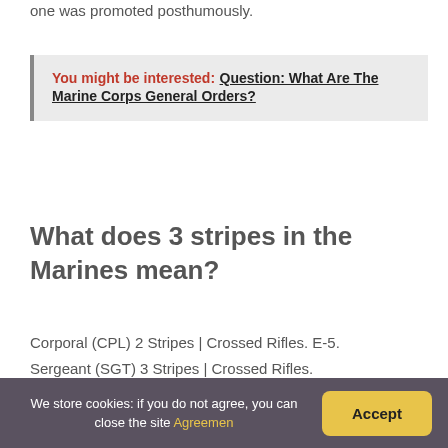one was promoted posthumously.
You might be interested: Question: What Are The Marine Corps General Orders?
What does 3 stripes in the Marines mean?
Corporal (CPL) 2 Stripes | Crossed Rifles. E-5. Sergeant (SGT) 3 Stripes | Crossed Rifles.
Are there colonels in the
We store cookies: if you do not agree, you can close the site Agreemen